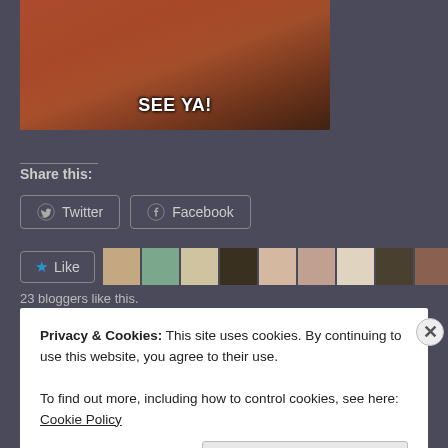[Figure (photo): A blurry screenshot or GIF from a movie/TV show with a woman in red clothing. White bold caption text reads 'SEE YA!' at the bottom.]
Share this:
Twitter
Facebook
[Figure (other): Like button with star icon and row of 10 blogger avatar thumbnails]
23 bloggers like this.
Privacy & Cookies: This site uses cookies. By continuing to use this website, you agree to their use.
To find out more, including how to control cookies, see here: Cookie Policy
Close and accept